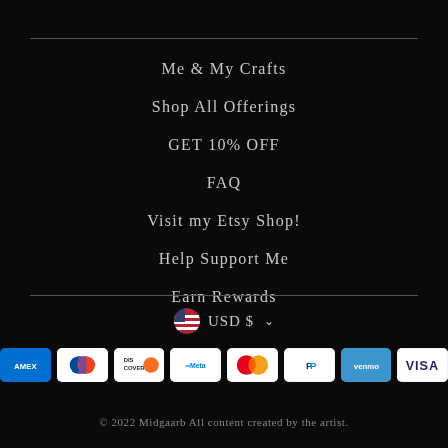Me & My Crafts
Shop All Offerings
GET 10% OFF
FAQ
Visit my Etsy Shop!
Help Support Me
Earn Rewards
USD $
[Figure (other): Payment method icons: American Express, Diners Club, Discover, Meta Pay, Mastercard, PayPal, Venmo, Visa]
© 2022 Midgaarb All content created by the artist.